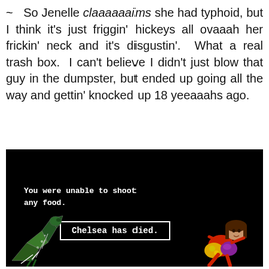~  So Jenelle claaaaaaims she had typhoid, but I think it's just friggin' hickeys all ovaaah her frickin' neck and it's disgustin'.  What a real trash box.  I can't believe I didn't just blow that guy in the dumpster, but ended up going all the way and gettin' knocked up 18 yeeaaahs ago.
[Figure (screenshot): Oregon Trail style black-screen game screenshot. White monospace text reads 'You were unable to shoot any food.' with a white-bordered box containing 'Chelsea has died.' A cartoon character (girl with brown hair in red outfit with yellow and purple accessories) lies at bottom right, and a dinosaur/skeleton creature appears at bottom left.]